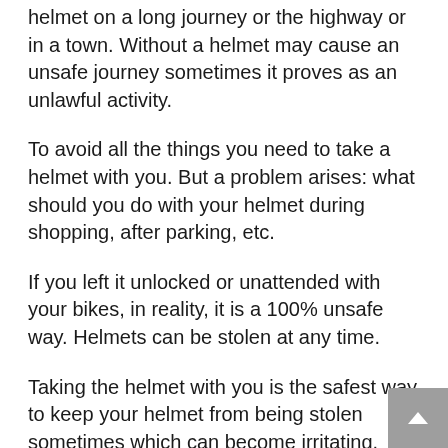helmet on a long journey or the highway or in a town. Without a helmet may cause an unsafe journey sometimes it proves as an unlawful activity.
To avoid all the things you need to take a helmet with you. But a problem arises: what should you do with your helmet during shopping, after parking, etc.
If you left it unlocked or unattended with your bikes, in reality, it is a 100% unsafe way. Helmets can be stolen at any time.
Taking the helmet with you is the safest way to keep your helmet from being stolen sometimes which can become irritating.